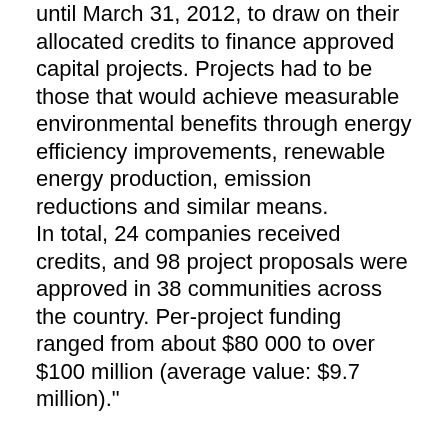until March 31, 2012, to draw on their allocated credits to finance approved capital projects. Projects had to be those that would achieve measurable environmental benefits through energy efficiency improvements, renewable energy production, emission reductions and similar means. In total, 24 companies received credits, and 98 project proposals were approved in 38 communities across the country. Per-project funding ranged from about $80 000 to over $100 million (average value: $9.7 million)."